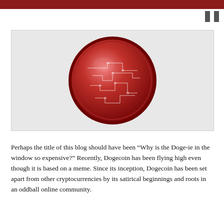[Figure (illustration): A red metallic coin with circuit board pattern etched on its surface, displayed against a light grey background.]
Perhaps the title of this blog should have been “Why is the Doge-ie in the window so expensive?” Recently, Dogecoin has been flying high even though it is based on a meme. Since its inception, Dogecoin has been set apart from other cryptocurrencies by its satirical beginnings and roots in an oddball online community.